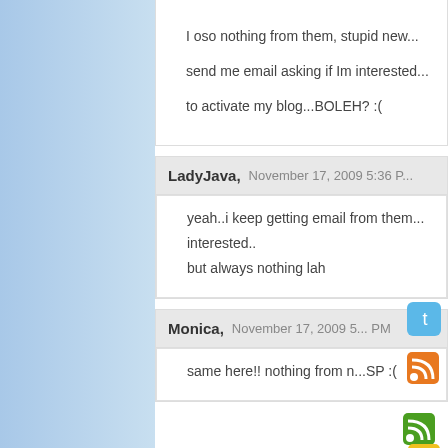I oso nothing from them, stupid new... send me email asking if Im interested... to activate my blog...BOLEH? :(
LadyJava, November 17, 2009 5:36 P...
yeah..i keep getting email from them interested.. but always nothing lah
Monica, November 17, 2009 5... PM
same here!! nothing from n...SP :(
Mariuca, November 17, 2009 5... PM